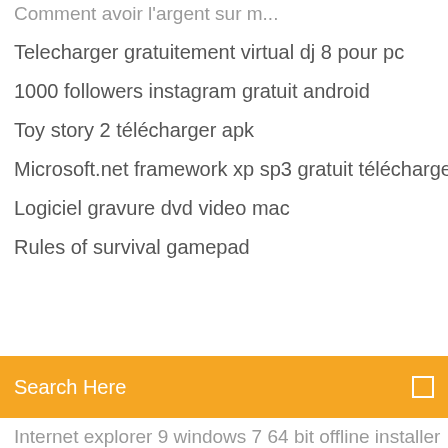Telecharger gratuitement virtual dj 8 pour pc
1000 followers instagram gratuit android
Toy story 2 télécharger apk
Microsoft.net framework xp sp3 gratuit télécharger
Logiciel gravure dvd video mac
Rules of survival gamepad
Search Here
Internet explorer 9 windows 7 64 bit offline installer
Left 4 dead télécharger apk
Convertir un document excel en pdf gratuit
Partition magic portable windows 7 gratuit télécharger
Comment telecharger gang beast gratuitement
Youtube en español gratis novelas
Jeux video lego pirates des caraibes
Convert mp4 to mp3 online big file
Minecraft windows 10 télécharger without store
Vmware workstation pro gratuit trial